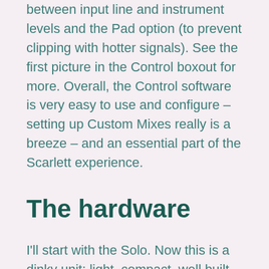between input line and instrument levels and the Pad option (to prevent clipping with hotter signals). See the first picture in the Control boxout for more. Overall, the Control software is very easy to use and configure – setting up Custom Mixes really is a breeze – and an essential part of the Scarlett experience.
The hardware
I'll start with the Solo. Now this is a dinky unit: light, compact, well built, small enough to pocket and buss-powered, too, so a good mobile-recording option. It features a precision-tuned halo with